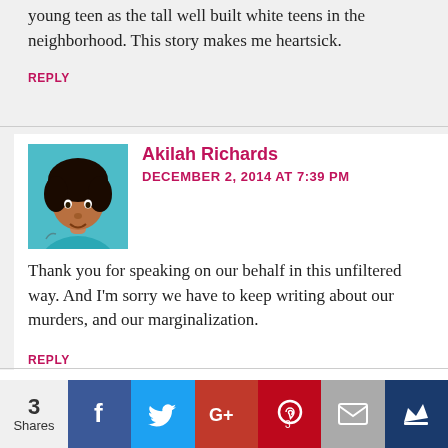young teen as the tall well built white teens in the neighborhood. This story makes me heartsick.
REPLY
Akilah Richards
DECEMBER 2, 2014 AT 7:39 PM
Thank you for speaking on our behalf in this unfiltered way. And I'm sorry we have to keep writing about our murders, and our marginalization.
REPLY
Leave a Reply
3 Shares